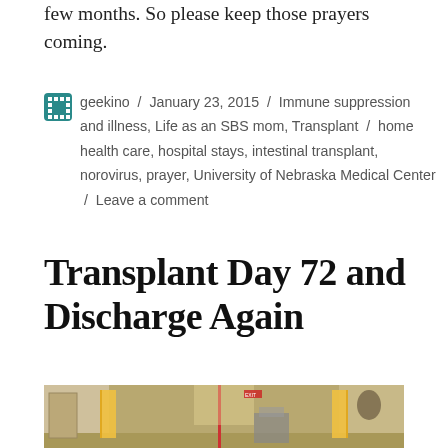few months. So please keep those prayers coming.
geekino / January 23, 2015 / Immune suppression and illness, Life as an SBS mom, Transplant / home health care, hospital stays, intestinal transplant, norovirus, prayer, University of Nebraska Medical Center / Leave a comment
Transplant Day 72 and Discharge Again
[Figure (photo): Hospital hallway with medical equipment, IV pole, and warm yellow lighting on the walls]